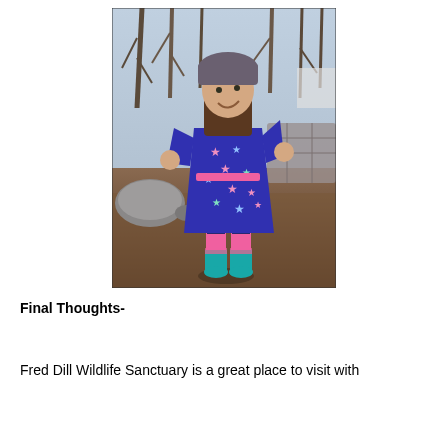[Figure (photo): A young girl wearing a purple star-patterned dress, grey hat, pink socks, and teal cowboy boots, standing outdoors on rocky ground with bare trees in the background.]
Final Thoughts-
Fred Dill Wildlife Sanctuary is a great place to visit with